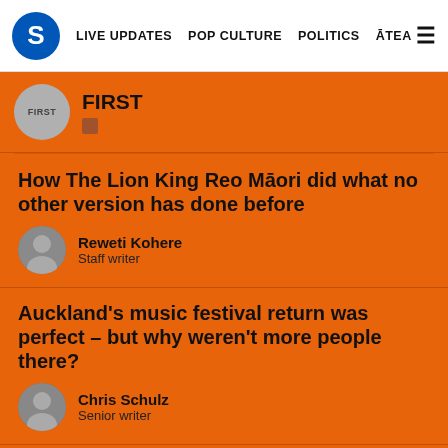S | LIVE UPDATES | POP CULTURE | POLITICS | ĀTEA
FIRST
How The Lion King Reo Māori did what no other version has done before
Reweti Kohere
Staff writer
Auckland's music festival return was perfect – but why weren't more people there?
Chris Schulz
Senior writer
The day I met Moko the dolphin
FIRST